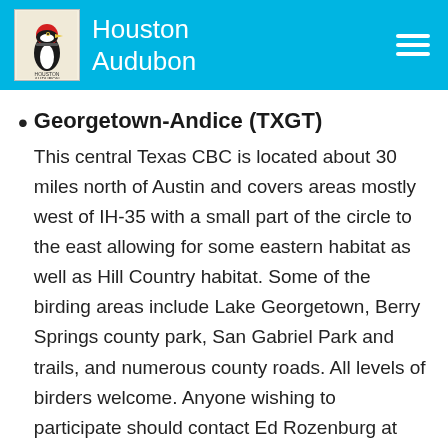Houston Audubon
Georgetown-Andice (TXGT)
This central Texas CBC is located about 30 miles north of Austin and covers areas mostly west of IH-35 with a small part of the circle to the east allowing for some eastern habitat as well as Hill Country habitat. Some of the birding areas include Lake Georgetown, Berry Springs county park, San Gabriel Park and trails, and numerous county roads. All levels of birders welcome. Anyone wishing to participate should contact Ed Rozenburg at birded78@suddenlink.net